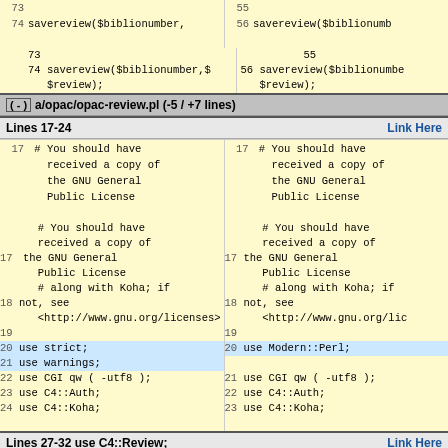[Figure (screenshot): Code diff view showing two columns of source code with line numbers. Left column shows old version, right column shows new version. Contains sections for opac/opac-review.pl with highlighted changes including removed 'use strict' and 'use warnings' replaced by 'use Modern::Perl', and added 'use Koha::Reviews'.]